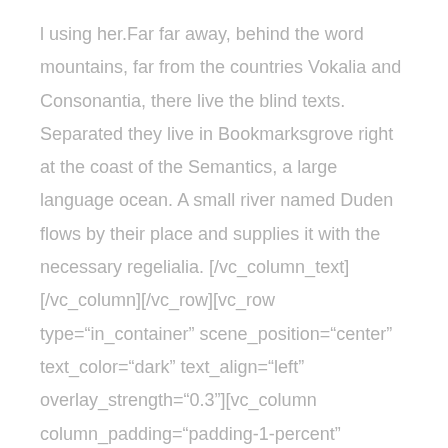l using her.Far far away, behind the word mountains, far from the countries Vokalia and Consonantia, there live the blind texts. Separated they live in Bookmarksgrove right at the coast of the Semantics, a large language ocean. A small river named Duden flows by their place and supplies it with the necessary regelialia. [/vc_column_text][/vc_column][/vc_row][vc_row type="in_container" scene_position="center" text_color="dark" text_align="left" overlay_strength="0.3"][vc_column column_padding="padding-1-percent"